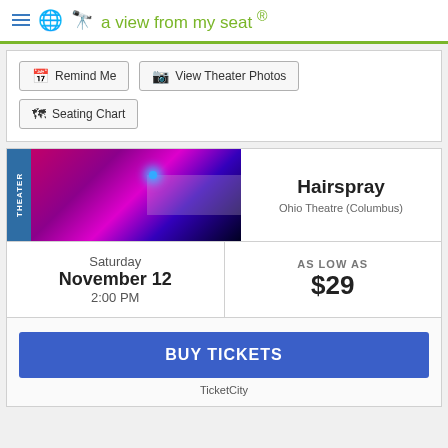a view from my seat ®
Remind Me | View Theater Photos | Seating Chart
[Figure (photo): Theater stage with pink/purple lighting and a blue spotlight]
Hairspray
Ohio Theatre (Columbus)
Saturday November 12 2:00 PM
AS LOW AS $29
BUY TICKETS
TicketCity